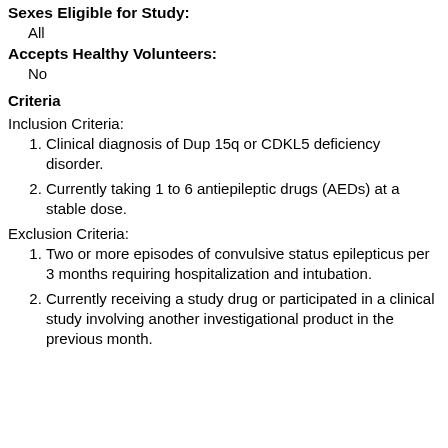Sexes Eligible for Study:
All
Accepts Healthy Volunteers:
No
Criteria
Inclusion Criteria:
1. Clinical diagnosis of Dup 15q or CDKL5 deficiency disorder.
2. Currently taking 1 to 6 antiepileptic drugs (AEDs) at a stable dose.
Exclusion Criteria:
1. Two or more episodes of convulsive status epilepticus per 3 months requiring hospitalization and intubation.
2. Currently receiving a study drug or participated in a clinical study involving another investigational product in the previous month.